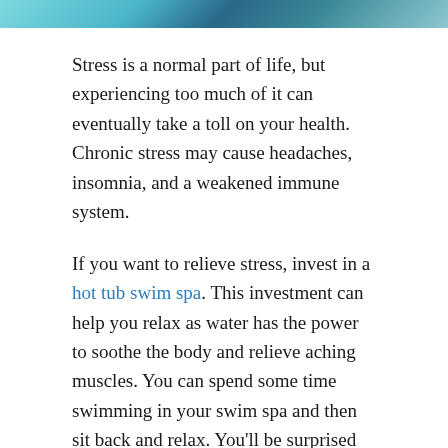[Figure (photo): Partial photo strip at top of page showing people or water scene, cropped]
Stress is a normal part of life, but experiencing too much of it can eventually take a toll on your health. Chronic stress may cause headaches, insomnia, and a weakened immune system.
If you want to relieve stress, invest in a hot tub swim spa. This investment can help you relax as water has the power to soothe the body and relieve aching muscles. You can spend some time swimming in your swim spa and then sit back and relax. You'll be surprised how spending a few minutes in your swim spa can recharge your mind and body.